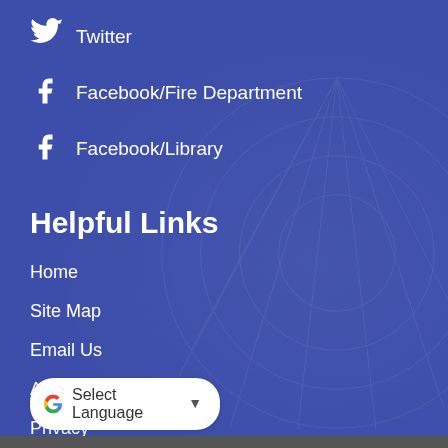Twitter
Facebook/Fire Department
Facebook/Library
Helpful Links
Home
Site Map
Email Us
Accessibility
Privacy
Copyright Notices
G Select Language ▾